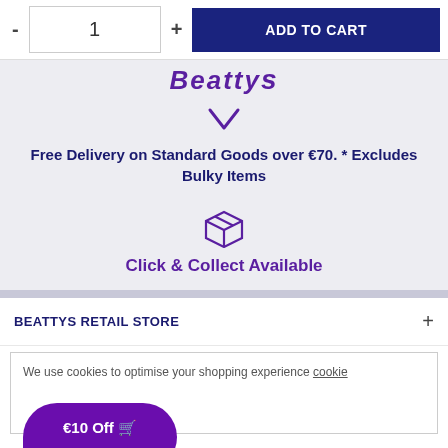[Figure (screenshot): Add to cart UI with quantity selector (minus, 1, plus) and a dark blue ADD TO CART button]
Beattys (partial logo text, italic, purple)
[Figure (illustration): Purple downward arrow icon]
Free Delivery on Standard Goods over €70. * Excludes Bulky Items
[Figure (illustration): Purple box/package icon for Click & Collect]
Click & Collect Available
BEATTYS RETAIL STORE
We use cookies to optimise your shopping experience cookie
€10 Off 🛒
CUSTOMER SERVICE